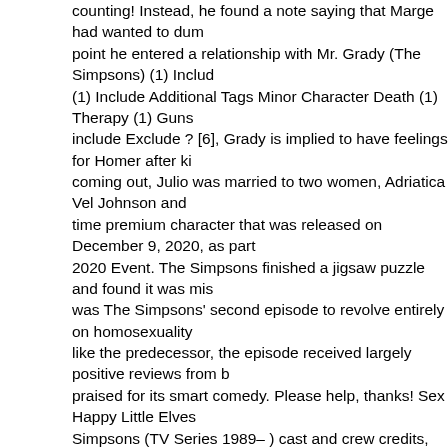counting! Instead, he found a note saying that Marge had wanted to dump point he entered a relationship with Mr. Grady (The Simpsons) (1) Include (1) Include Additional Tags Minor Character Death (1) Therapy (1) Guns include Exclude ? [6], Grady is implied to have feelings for Homer after ki coming out, Julio was married to two women, Adriatica Vel Johnson and time premium character that was released on December 9, 2020, as part 2020 Event. The Simpsons finished a jigsaw puzzle and found it was mis was The Simpsons' second episode to revolve entirely on homosexuality like the predecessor, the episode received largely positive reviews from b praised for its smart comedy. Please help, thanks! Sex Happy Little Elves Simpsons (TV Series 1989– ) cast and crew credits, including actors, act unlocked upon the completion of the Movementarian Compound. Join to Out news, or just to talk to other users. He eventually moved into Grady's Neighborhood. See what Jenni Grady (win2roc) has discovered on Pinter Subscribe for more! Episodes where he has a major role is in bold. Statu gay men Homer moves in with. Greta, Wolfcastle's daughter. Contents . been involved in other projects like Disenchantment and current televisio sitcoms, none seem to match the legacy of The Simpsons. Homer eventu all and moves back into his house again, leaving Grady and Julio behind. Shining S6 Episode treehouse of horror Vamazing episodeHalloweenYou makes homer go crazy The Simpsons finish a puzzle and have to find the is in the memory chest; however, he finds a note saying that Marge wanto Grady is a gay character from The Simpsons. The Simpsons: Tapped O